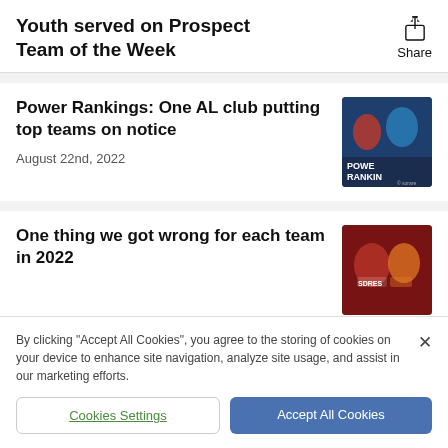Youth served on Prospect Team of the Week
Power Rankings: One AL club putting top teams on notice
August 22nd, 2022
[Figure (photo): Baseball players image with 'POWER RANKINGS' text overlay, Sorare branding]
One thing we got wrong for each team in 2022
[Figure (photo): Baseball players photo with team jerseys visible]
By clicking "Accept All Cookies", you agree to the storing of cookies on your device to enhance site navigation, analyze site usage, and assist in our marketing efforts.
Cookies Settings
Accept All Cookies